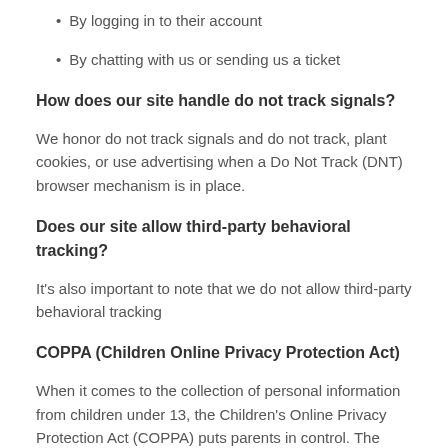By logging in to their account
By chatting with us or sending us a ticket
How does our site handle do not track signals?
We honor do not track signals and do not track, plant cookies, or use advertising when a Do Not Track (DNT) browser mechanism is in place.
Does our site allow third-party behavioral tracking?
It's also important to note that we do not allow third-party behavioral tracking
COPPA (Children Online Privacy Protection Act)
When it comes to the collection of personal information from children under 13, the Children's Online Privacy Protection Act (COPPA) puts parents in control. The Federal Trade Commission, the nation's consumer protection agency, enforces the COPPA